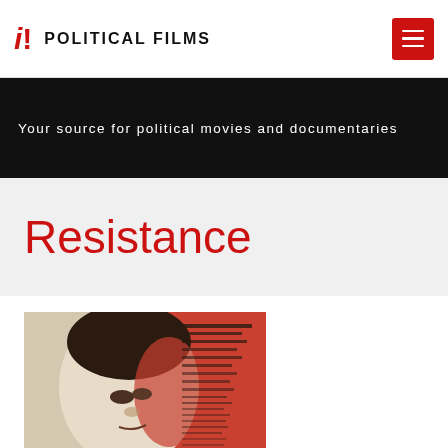POLITICAL FILMS
Your source for political movies and documentaries
Resistance
[Figure (photo): Soviet-era film poster featuring a stylized portrait of a man's face, half in pale tones and half in red/orange, with Cyrillic text credits on the right side.]